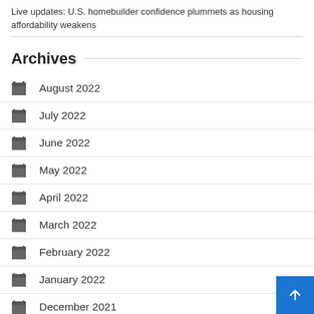Live updates: U.S. homebuilder confidence plummets as housing affordability weakens
Archives
August 2022
July 2022
June 2022
May 2022
April 2022
March 2022
February 2022
January 2022
December 2021